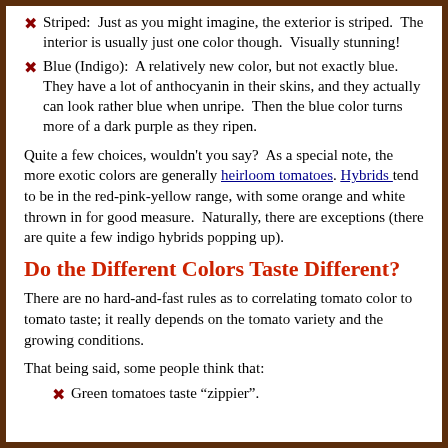Striped: Just as you might imagine, the exterior is striped. The interior is usually just one color though. Visually stunning!
Blue (Indigo): A relatively new color, but not exactly blue. They have a lot of anthocyanin in their skins, and they actually can look rather blue when unripe. Then the blue color turns more of a dark purple as they ripen.
Quite a few choices, wouldn't you say? As a special note, the more exotic colors are generally heirloom tomatoes. Hybrids tend to be in the red-pink-yellow range, with some orange and white thrown in for good measure. Naturally, there are exceptions (there are quite a few indigo hybrids popping up).
Do the Different Colors Taste Different?
There are no hard-and-fast rules as to correlating tomato color to tomato taste; it really depends on the tomato variety and the growing conditions.
That being said, some people think that:
Green tomatoes taste "zippier".